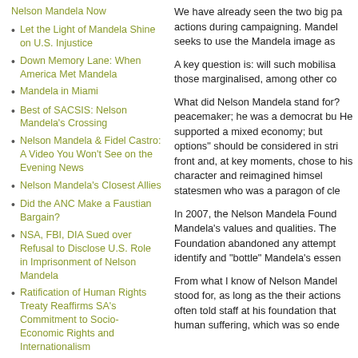Nelson Mandela Now
Let the Light of Mandela Shine on U.S. Injustice
Down Memory Lane: When America Met Mandela
Mandela in Miami
Best of SACSIS: Nelson Mandela's Crossing
Nelson Mandela & Fidel Castro: A Video You Won't See on the Evening News
Nelson Mandela's Closest Allies
Did the ANC Make a Faustian Bargain?
NSA, FBI, DIA Sued over Refusal to Disclose U.S. Role in Imprisonment of Nelson Mandela
Ratification of Human Rights Treaty Reaffirms SA's Commitment to Socio-Economic Rights and Internationalism
We have already seen the two big pa actions during campaigning. Mandel seeks to use the Mandela image as
A key question is: will such mobilisa those marginalised, among other co
What did Nelson Mandela stand for? peacemaker; he was a democrat bu He supported a mixed economy; but options" should be considered in stri front and, at key moments, chose to his character and reimagined himsel statesmen who was a paragon of cle
In 2007, the Nelson Mandela Found Mandela's values and qualities. The Foundation abandoned any attempt identify and "bottle" Mandela's essen
From what I know of Nelson Mandel stood for, as long as the their actions often told staff at his foundation that human suffering, which was so ende